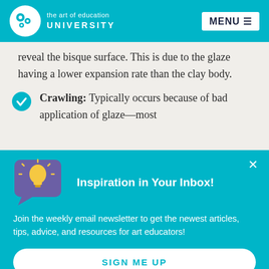the art of education UNIVERSITY | MENU
reveal the bisque surface. This is due to the glaze having a lower expansion rate than the clay body.
Crawling: Typically occurs because of bad application of glaze—most
Inspiration in Your Inbox!
Join the weekly email newsletter to get the newest articles, tips, advice, and resources for art educators!
SIGN ME UP